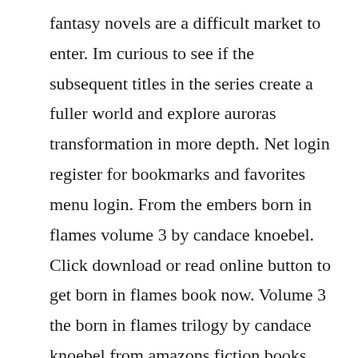fantasy novels are a difficult market to enter. Im curious to see if the subsequent titles in the series create a fuller world and explore auroras transformation in more depth. Net login register for bookmarks and favorites menu login. From the embers born in flames volume 3 by candace knoebel. Click download or read online button to get born in flames book now. Volume 3 the born in flames trilogy by candace knoebel from amazons fiction books store. The first edition of the novel was published in september 1st 2012, and was written by candace knoebel. Born it